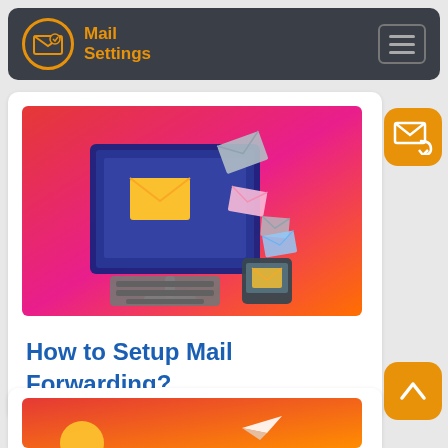Mail Settings
[Figure (illustration): Isometric illustration of a desktop computer monitor showing email envelopes flying out, with a keyboard and mobile phone, on a red-to-pink gradient background]
How to Setup Mail Forwarding?
[Figure (illustration): Partial view of a second article card with a red-orange gradient background showing a paper plane]